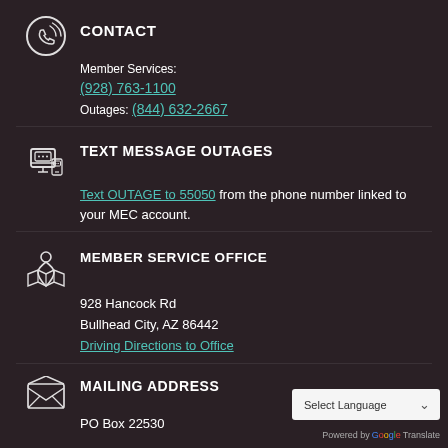CONTACT
Member Services:
(928) 763-1100
Outages: (844) 632-2667
TEXT MESSAGE OUTAGES
Text OUTAGE to 55050 from the phone number linked to your MEC account.
MEMBER SERVICE OFFICE
928 Hancock Rd
Bullhead City, AZ 86442
Driving Directions to Office
MAILING ADDRESS
PO Box 22530